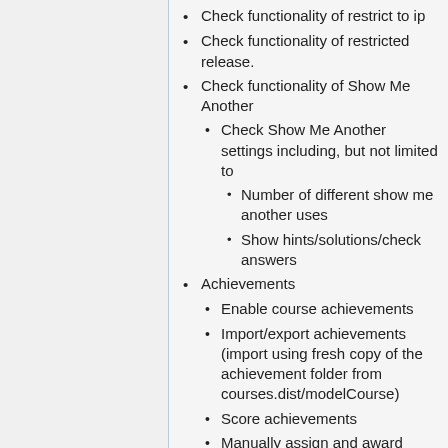Check functionality of restrict to ip
Check functionality of restricted release.
Check functionality of Show Me Another
Check Show Me Another settings including, but not limited to
Number of different show me another uses
Show hints/solutions/check answers
Achievements
Enable course achievements
Import/export achievements (import using fresh copy of the achievement folder from courses.dist/modelCourse)
Score achievements
Manually assign and award achievements